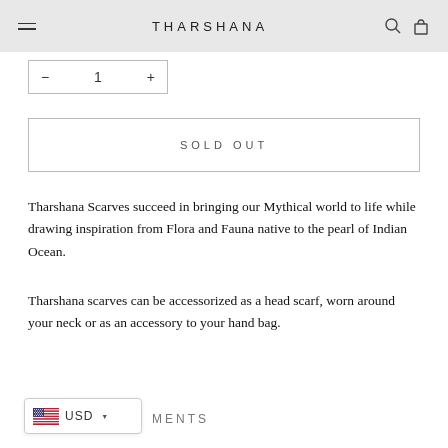THARSHANA
− 1 +
SOLD OUT
Tharshana Scarves succeed in bringing our Mythical world to life while drawing inspiration from Flora and Fauna native to the pearl of Indian Ocean.
Tharshana scarves can be accessorized as a head scarf, worn around your neck or as an accessory to your hand bag.
USD ▼ MENTS